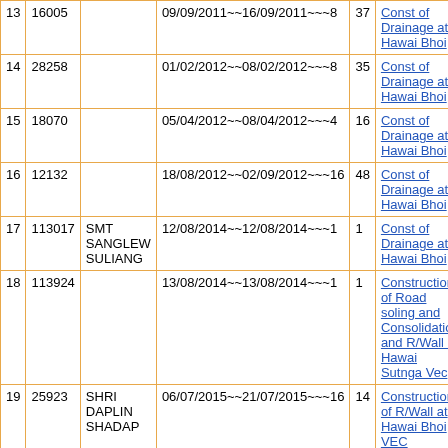| # | Amount | Name | Date Range | Days | Description |
| --- | --- | --- | --- | --- | --- |
| 13 | 16005 |  | 09/09/2011~~16/09/2011~~~8 | 37 | Const of Drainage at Hawai Bhoi |
| 14 | 28258 |  | 01/02/2012~~08/02/2012~~~8 | 35 | Const of Drainage at Hawai Bhoi |
| 15 | 18070 |  | 05/04/2012~~08/04/2012~~~4 | 16 | Const of Drainage at Hawai Bhoi |
| 16 | 12132 |  | 18/08/2012~~02/09/2012~~~16 | 48 | Const of Drainage at Hawai Bhoi |
| 17 | 113017 | SMT SANGLEW SULIANG | 12/08/2014~~12/08/2014~~~1 | 1 | Const of Drainage at Hawai Bhoi |
| 18 | 113924 |  | 13/08/2014~~13/08/2014~~~1 | 1 | Construction of Road soling and Consolidation and R/Wall at Hawai Sutnga Vec |
| 19 | 25923 | SHRI DAPLIN SHADAP | 06/07/2015~~21/07/2015~~~16 | 14 | Construction of R/Wall at Hawai Bhoi VEC |
| 20 | 38530 |  | 10/09/2015~~25/09/2015~~~16 | 14 | Construction of R/Wall at... |